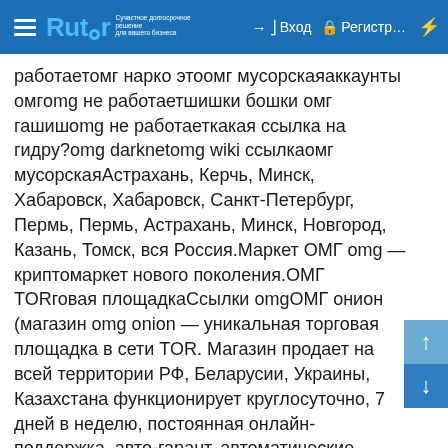Rutor — Вход — Регистр...
работаетомг нарко этоомг мусорскаяаккаунты омгomg не работаетшишки бошки омг гашишomg не работаеткакая ссылка на гидру?omg darknetomg wiki ссылкаомг мусорскаяАстрахань, Керчь, Минск, Хабаровск, Хабаровск, Санкт-Петербург, Пермь, Пермь, Астрахань, Минск, Новгород, Казань, Томск, вся Россия.Маркет ОМГ omg — криптомаркет нового поколения.ОМГ TORговая площадкаСсылки omgОМГ онион (магазин omg onion — уникальная торговая площадка в сети TOR. Магазин продает на всей территории РФ, Беларусии, Украины, Казахстана функционирует круглосуточно, 7 дней в неделю, постоянная онлайн-поддержка, авто-гарант, автоматические продажи с опалтой через киви или bitcoin.ОМГ полностью безопасна и написана на современных языках программирования.Основная проблема при регистрации на гидре - это поиск правильной ссылки. Кроме тор ссылки, есть ссылка на гидру без тора.Основные преимущества сайта криптомаркета заключаются в том, что:ОМГ — самый простой и безопасный криптомаркет для покупок